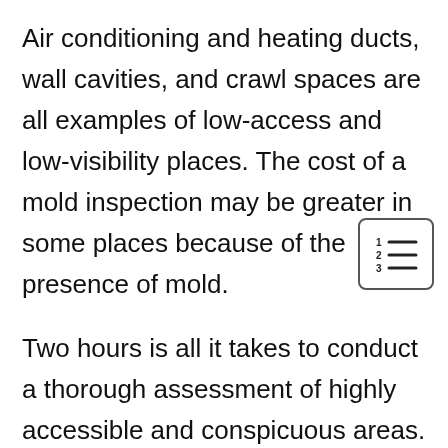Air conditioning and heating ducts, wall cavities, and crawl spaces are all examples of low-access and low-visibility places. The cost of a mold inspection may be greater in some places because of the presence of mold.
[Figure (illustration): Small icon of a numbered list (1, 2, 3) with horizontal lines, inside a rounded rectangle border]
Two hours is all it takes to conduct a thorough assessment of highly accessible and conspicuous areas. Inaccessible places, on the other hand, may need six hours of travel time.
The air in your house will be tested for harmful spores if testing is included. The